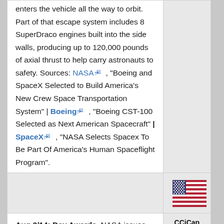enters the vehicle all the way to orbit. Part of that escape system includes 8 SuperDraco engines built into the side walls, producing up to 120,000 pounds of axial thrust to help carry astronauts to safety. Sources: NASA, "Boeing and SpaceX Selected to Build America's New Crew Space Transportation System" | Boeing, "Boeing CST-100 Selected as Next American Spacecraft" | SpaceX, "NASA Selects Spacex To Be Part Of America's Human Spaceflight Program".
[Figure (illustration): US flag emoji/icon]
Aug 3/14: Dev Awards. NASA issues about $1 billion in development contracts under its Commercial Crew Integrated Capability (CCiCap) program. It includes design work up to the point when
CCiCap